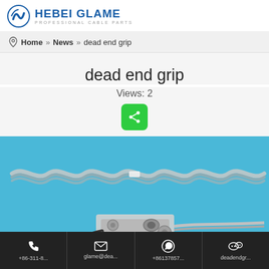HEBEI GLAME — PROFESSIONAL CABLE PARTS
Home » News » dead end grip
dead end grip
Views: 2
[Figure (photo): Photo of dead end grip cable hardware — twisted aluminum/steel preformed wire strands and metal clamp bracket on blue background]
+86-311-8... | glame@dea... | +86137857... | deadendgr...